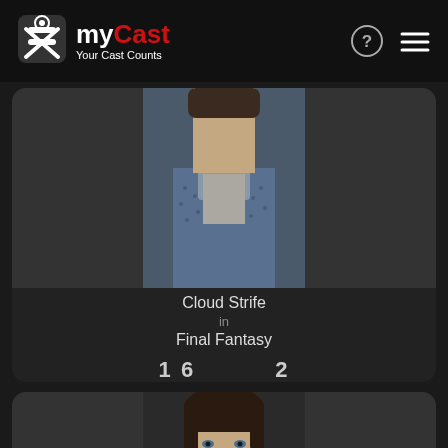myCast – Your Cast Counts
[Figure (photo): Actor photo showing person in blue patterned short-sleeve shirt over grey shirt, upper body view]
Cloud Strife
in
Final Fantasy
16    2
VOTE YES   VOTE NO
[Figure (photo): Young male actor with dark brown hair, looking into camera, wearing black, against dark background]